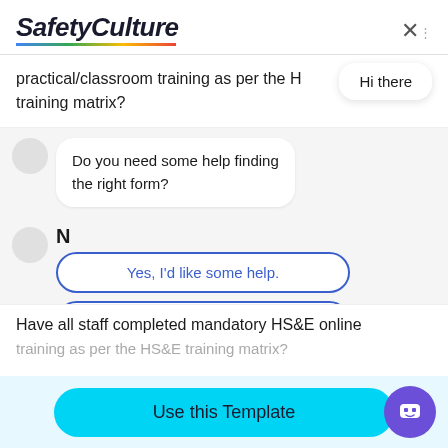[Figure (screenshot): SafetyCulture app interface showing a chatbot assistant popup with options to find a form, import a form, or dismiss.]
SafetyCulture
practical/classroom training as per the H training matrix?
Hi there
Do you need some help finding the right form?
N
Yes, I'd like some help.
I want to import my own form.
No, I'm good. Thanks!
Have all staff completed mandatory HS&E online training as per the HS&E training matrix?
Use this Template